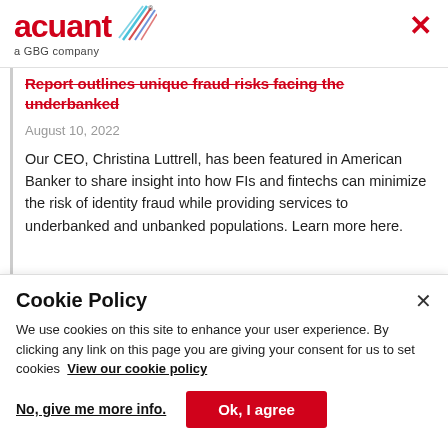acuant — a GBG company
Report outlines unique fraud risks facing the underbanked
August 10, 2022
Our CEO, Christina Luttrell, has been featured in American Banker to share insight into how FIs and fintechs can minimize the risk of identity fraud while providing services to underbanked and unbanked populations. Learn more here.
READ MORE
Cookie Policy
We use cookies on this site to enhance your user experience. By clicking any link on this page you are giving your consent for us to set cookies  View our cookie policy
No, give me more info.
Ok, I agree